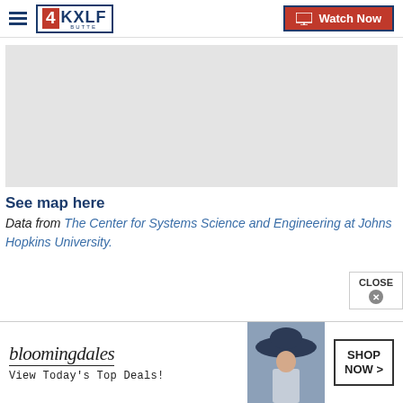4KXLF BUTTE | Watch Now
[Figure (screenshot): Gray placeholder map area]
See map here
Data from The Center for Systems Science and Engineering at Johns Hopkins University.
[Figure (photo): Bloomingdales advertisement banner: bloomingdales logo, View Today's Top Deals!, woman with hat photo, SHOP NOW > button, CLOSE button]